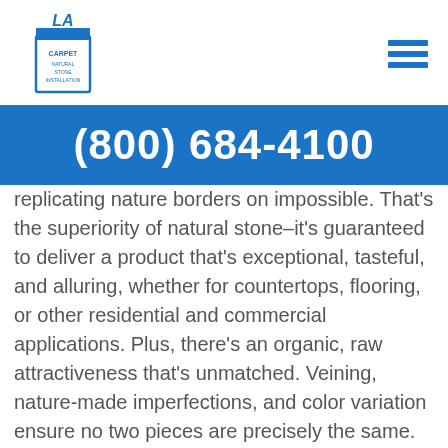LA Carpet - Natural Stone Installation
(800) 684-4100
replicating nature borders on impossible. That's the superiority of natural stone–it's guaranteed to deliver a product that's exceptional, tasteful, and alluring, whether for countertops, flooring, or other residential and commercial applications. Plus, there's an organic, raw attractiveness that's unmatched. Veining, nature-made imperfections, and color variation ensure no two pieces are precisely the same.
Natural stone signals longevity; it's durable and ideal in warmer climates because it doesn't retain